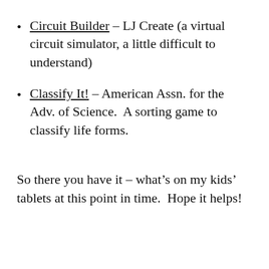Circuit Builder – LJ Create (a virtual circuit simulator, a little difficult to understand)
Classify It! – American Assn. for the Adv. of Science.  A sorting game to classify life forms.
So there you have it – what's on my kids' tablets at this point in time.  Hope it helps!